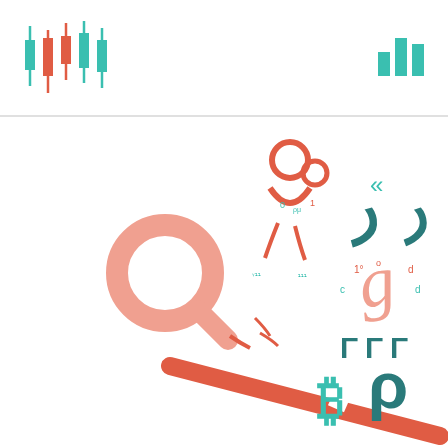[Figure (logo): Candlestick chart logo icon in teal and coral/orange colors on the left side of the header]
[Figure (logo): Small bar chart icon in teal on the right side of the header]
[Figure (illustration): Abstract illustration of trading/finance symbols including magnifying glass, Bitcoin symbol, currency symbols, and a diagonal orange bar/seesaw, rendered in coral/orange and teal colors on white background]